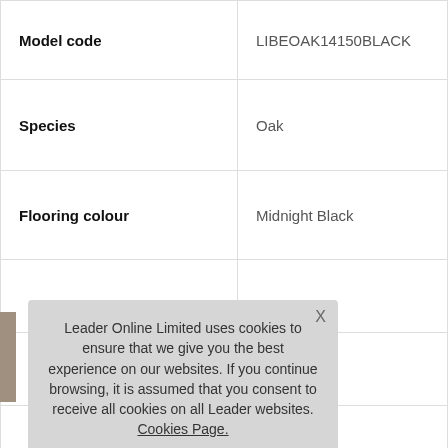| Field | Value |
| --- | --- |
| Model code | LIBEOAK14150BLACK |
| Species | Oak |
| Flooring colour | Midnight Black |
|  |  |
|  |  |
|  | m (Thickness x Width x Length) |
[Figure (screenshot): Cookie consent modal dialog. Text: 'Leader Online Limited uses cookies to ensure that we give you the best experience on our websites. If you continue browsing, it is assumed that you consent to receive all cookies on all Leader websites. Cookies Page.' with opt-in text and orange ACCEPT COOKIES button.]